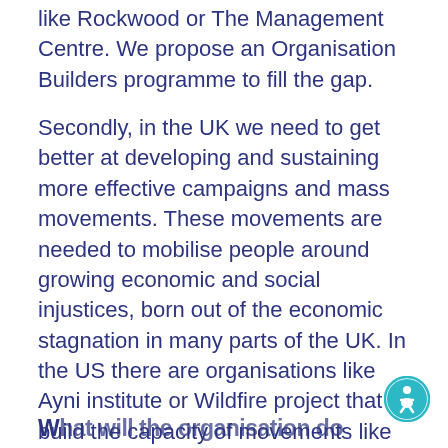like Rockwood or The Management Centre. We propose an Organisation Builders programme to fill the gap.
Secondly, in the UK we need to get better at developing and sustaining more effective campaigns and mass movements. These movements are needed to mobilise people around growing economic and social injustices, born out of the economic stagnation in many parts of the UK. In the US there are organisations like Ayni institute or Wildfire project that build the capacity of movements like #fightfor15. We therefore propose to build a dedicated Movement Builders programme here in the UK.
What will the organisation do?